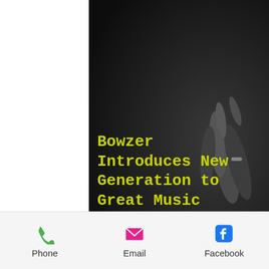[Figure (photo): Dark background with crowd hands raised at concert, black and white tones]
Bowzer Introduces New Generation to Great Music
Jon “Bowzer” Bauman has been recreating great Doo-Wop and early Rock N’ Roll music throughout his career. As front man for the popular syndicated show “Sha-Na-Na, which aired originally from 1977 – 1981, he was a significant force in the
Phone  Email  Facebook